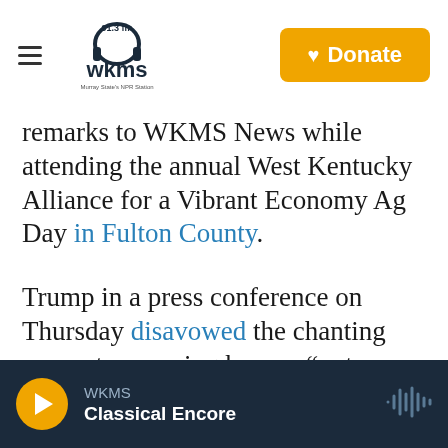WKMS 91.3 FM — Murray State's NPR Station | Donate
remarks to WKMS News while attending the annual West Kentucky Alliance for a Vibrant Economy Ag Day in Fulton County.
Trump in a press conference on Thursday disavowed the chanting supporters, saying he was “not happy.”
Tags: Government & Politics | Stan Humphries | Danny Carroll
WKMS — Classical Encore